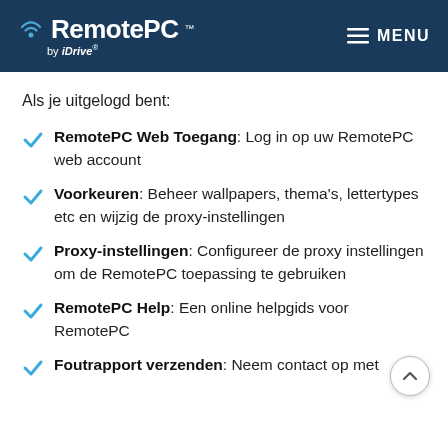RemotePC™ by IDrive — MENU
Als je uitgelogd bent:
RemotePC Web Toegang: Log in op uw RemotePC web account
Voorkeuren: Beheer wallpapers, thema's, lettertypes etc en wijzig de proxy-instellingen
Proxy-instellingen: Configureer de proxy instellingen om de RemotePC toepassing te gebruiken
RemotePC Help: Een online helpgids voor RemotePC
Foutrapport verzenden: Neem contact op met